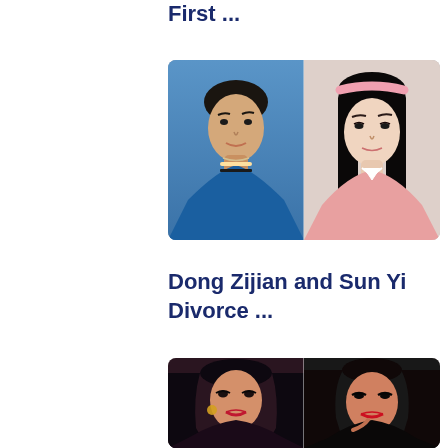First ...
[Figure (photo): Two Chinese celebrities side by side: a young man in a blue jacket on the left, and a young woman with a pink headband in a pink top on the right]
Dong Zijian and Sun Yi Divorce ...
[Figure (photo): Two young women in dark clothing: one with wavy dark hair and gold earrings on the left, one with braided dark hair and red lips on the right]